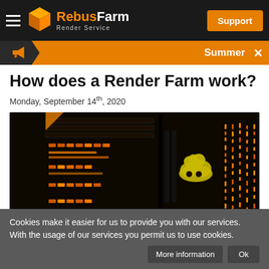RebusFarm Render Service — Support
[Figure (screenshot): Orange announcement bar with megaphone icon and 'Summer' text with close button]
How does a Render Farm work?
Monday, September 14th, 2020
[Figure (photo): Dark server racks with orange LED lights and a yellow cloud icon with circles in the center]
Cookies make it easier for us to provide you with our services. With the usage of our services you permit us to use cookies.